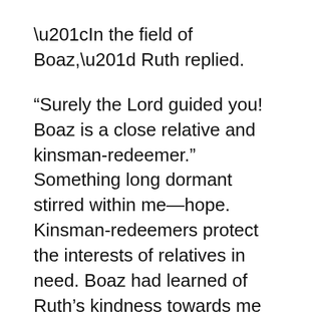“In the field of Boaz,” Ruth replied.
“Surely the Lord guided you! Boaz is a close relative and kinsman-redeemer.” Something long dormant stirred within me—hope. Kinsman-redeemers protect the interests of relatives in need. Boaz had learned of Ruth’s kindness towards me and blessed her with extra grain.
While Ruth was out gleaning, I sat home pondering and praying. I was too old and weary to marry again, but not Ruth. Though her hands were now calloused, her heart was